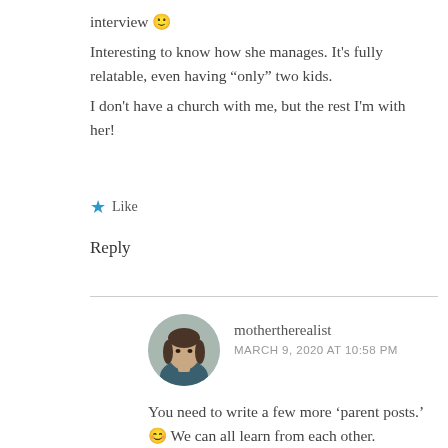interview 🙂
Interesting to know how she manages. It’s fully relatable, even having “only” two kids.
I don’t have a church with me, but the rest I’m with her!
★ Like
Reply
mothertherealist
MARCH 9, 2020 AT 10:58 PM
You need to write a few more ‘parent posts.’ 😊 We can all learn from each other.